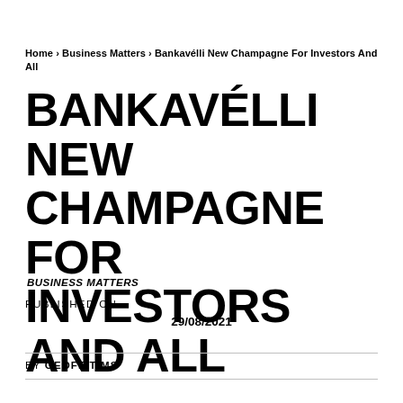Home › Business Matters › Bankavélli New Champagne For Investors And All
BANKAVÉLLI NEW CHAMPAGNE FOR INVESTORS AND ALL
BUSINESS MATTERS
PUBLISHED ON
29/08/2021
BY GEOFF TIMS